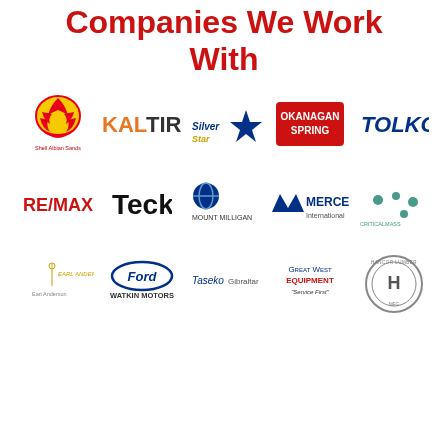Companies We Work With
[Figure (logo): Shell Albian Sands logo - yellow shell icon with red outline, text 'Shell Albian Sands' below]
[Figure (logo): KAL TIRE logo - KAL in orange, TIRE in dark gray bold]
[Figure (logo): SilverStar logo with blue/gold star]
[Figure (logo): Okanagan Spring logo - red rectangular badge with white text]
[Figure (logo): TOLKO logo in navy blue italic]
[Figure (logo): RE/MAX logo in red and blue]
[Figure (logo): Teck logo in black bold]
[Figure (logo): Mount Milligan logo with blue globe icon]
[Figure (logo): Mercer International logo with mountain/M icon]
[Figure (logo): CriticalMass logo with teal dots]
[Figure (logo): Earl Anderson logo in gold]
[Figure (logo): Ford Watkin Motors logo]
[Figure (logo): Taseko Gibraltar logo]
[Figure (logo): Great West Equipment Service First logo]
[Figure (logo): Hancor Lumber & Mfg logo with H badge]